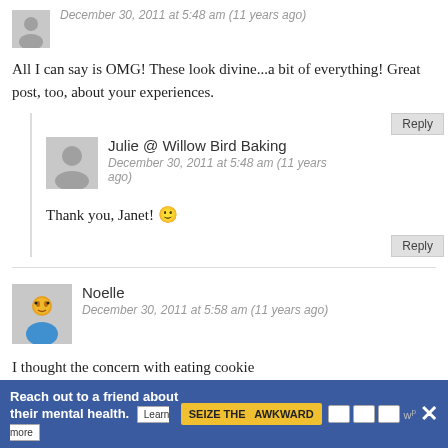December 30, 2011 at 5:48 am (11 years ago)
All I can say is OMG! These look divine...a bit of everything! Great post, too, about your experiences.
Reply
Julie @ Willow Bird Baking
December 30, 2011 at 5:48 am (11 years ago)
Thank you, Janet! 🙂
Reply
Noelle
December 30, 2011 at 5:58 am (11 years ago)
I thought the concern with eating cookie
Reach out to a friend about their mental health. Learn more